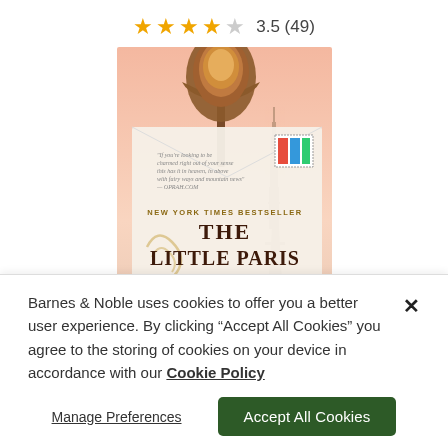[Figure (other): Star rating display showing 3.5 out of 5 stars (4 filled/half stars, 1 empty) with text '3.5 (49)']
[Figure (photo): Book cover of 'The Little Paris Bookshop' by Nina George, New York Times Bestseller, showing a Parisian street lamp, the Eiffel Tower, and an envelope-style book cover design]
Barnes & Noble uses cookies to offer you a better user experience. By clicking "Accept All Cookies" you agree to the storing of cookies on your device in accordance with our Cookie Policy
Manage Preferences
Accept All Cookies